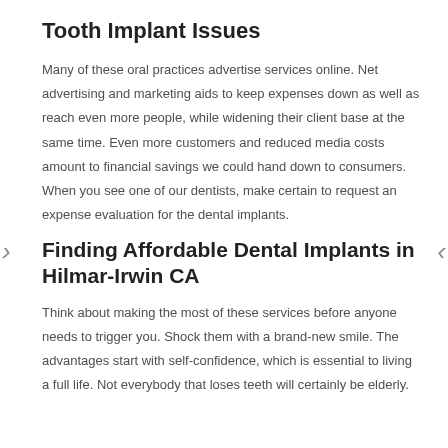Tooth Implant Issues
Many of these oral practices advertise services online. Net advertising and marketing aids to keep expenses down as well as reach even more people, while widening their client base at the same time. Even more customers and reduced media costs amount to financial savings we could hand down to consumers. When you see one of our dentists, make certain to request an expense evaluation for the dental implants.
Finding Affordable Dental Implants in Hilmar-Irwin CA
Think about making the most of these services before anyone needs to trigger you. Shock them with a brand-new smile. The advantages start with self-confidence, which is essential to living a full life. Not everybody that loses teeth will certainly be elderly.